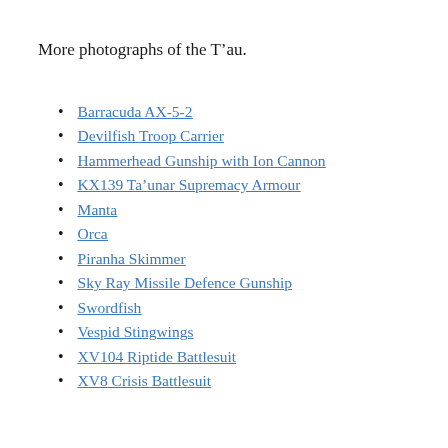More photographs of the T’au.
Barracuda AX-5-2
Devilfish Troop Carrier
Hammerhead Gunship with Ion Cannon
KX139 Ta’unar Supremacy Armour
Manta
Orca
Piranha Skimmer
Sky Ray Missile Defence Gunship
Swordfish
Vespid Stingwings
XV104 Riptide Battlesuit
XV8 Crisis Battlesuit